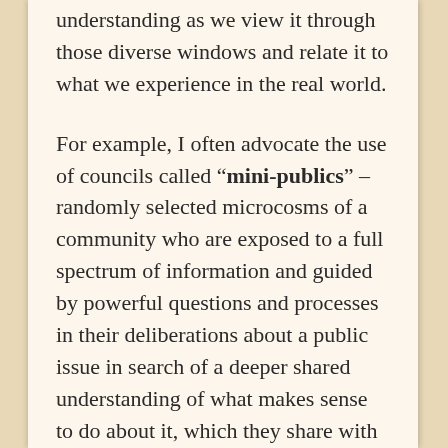understanding as we view it through those diverse windows and relate it to what we experience in the real world.
For example, I often advocate the use of councils called “mini-publics” – randomly selected microcosms of a community who are exposed to a full spectrum of information and guided by powerful questions and processes in their deliberations about a public issue in search of a deeper shared understanding of what makes sense to do about it, which they share with the broader public, elected officials, and